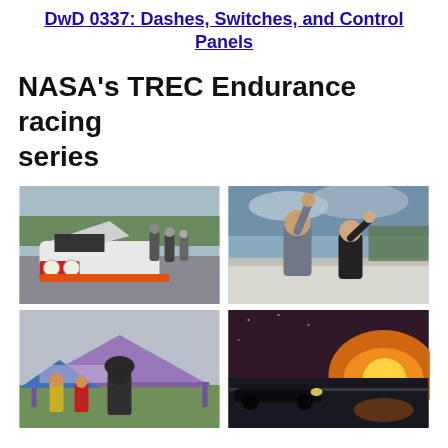DwD 0337: Dashes, Switches, and Control Panels
NASA's TREC Endurance racing series
[Figure (photo): Race car (BMW) with hood open surrounded by team members in a pit area]
[Figure (photo): Two people celebrating with raised fists near a concrete barrier at a race track]
[Figure (photo): People standing near a tent with signage at a race event, person in dark hoodie]
[Figure (photo): Racing car driving on track at sunset with dramatic orange and red sky]